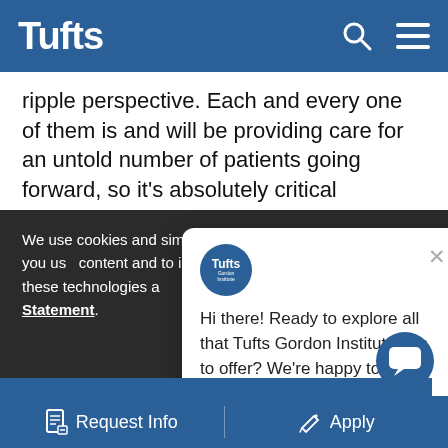Tufts
ripple perspective. Each and every one of them is and will be providing care for an untold number of patients going forward, so it's absolutely critical
We use cookies and similar technologies to understand how you us... content and to improve... use this site, we will as... of these technologies a... Statement.
[Figure (screenshot): Chat popup from Tufts Gordon Institute: 'Hi there! Ready to explore all that Tufts Gordon Institute has to offer? We're happy to help; chat live with a team member.']
Accept and Continue
Request Info   Apply